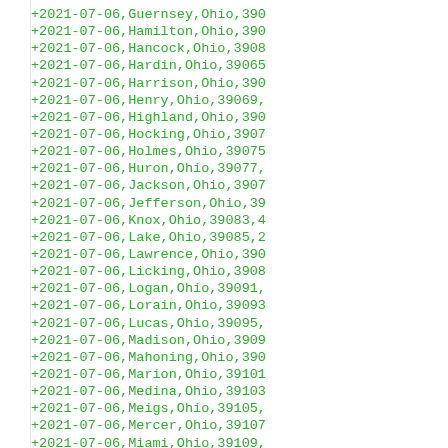+2021-07-06,Guernsey,Ohio,390...
+2021-07-06,Hamilton,Ohio,390...
+2021-07-06,Hancock,Ohio,3908...
+2021-07-06,Hardin,Ohio,39065...
+2021-07-06,Harrison,Ohio,390...
+2021-07-06,Henry,Ohio,39069,...
+2021-07-06,Highland,Ohio,390...
+2021-07-06,Hocking,Ohio,3907...
+2021-07-06,Holmes,Ohio,39075...
+2021-07-06,Huron,Ohio,39077,...
+2021-07-06,Jackson,Ohio,3907...
+2021-07-06,Jefferson,Ohio,39...
+2021-07-06,Knox,Ohio,39083,...
+2021-07-06,Lake,Ohio,39085,...
+2021-07-06,Lawrence,Ohio,390...
+2021-07-06,Licking,Ohio,3908...
+2021-07-06,Logan,Ohio,39091,...
+2021-07-06,Lorain,Ohio,39093...
+2021-07-06,Lucas,Ohio,39095,...
+2021-07-06,Madison,Ohio,3909...
+2021-07-06,Mahoning,Ohio,390...
+2021-07-06,Marion,Ohio,39101...
+2021-07-06,Medina,Ohio,39103...
+2021-07-06,Meigs,Ohio,39105,...
+2021-07-06,Mercer,Ohio,39107...
+2021-07-06,Miami,Ohio,39109,...
+2021-07-06,Monroe,Ohio,39111...
+2021-07-06,Montgomery,Ohio,3...
+2021-07-06,Morgan,Ohio,39115...
+2021-07-06,Morrow,Ohio,39117...
+2021-07-06,Muskingum,Ohio,39...
+2021-07-06,Noble,Ohio,39121,...
+2021-07-06,Ottawa,Ohio,39123...